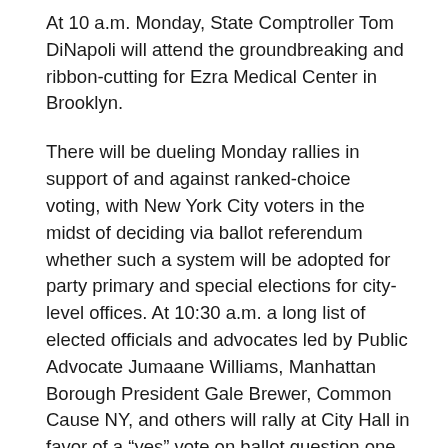At 10 a.m. Monday, State Comptroller Tom DiNapoli will attend the groundbreaking and ribbon-cutting for Ezra Medical Center in Brooklyn.
There will be dueling Monday rallies in support of and against ranked-choice voting, with New York City voters in the midst of deciding via ballot referendum whether such a system will be adopted for party primary and special elections for city-level offices. At 10:30 a.m. a long list of elected officials and advocates led by Public Advocate Jumaane Williams, Manhattan Borough President Gale Brewer, Common Cause NY, and others will rally at City Hall in favor of a “yes” vote on ballot question one, which includes ranked-choice voting. At noon, another long list of elected officials and advocates, led by the City Council’s Black, Latino, and Asian Caucus, will rally at City Hall Park in favor of a “no” vote on question one. While many votes have already been cast via early voting, Election Day is